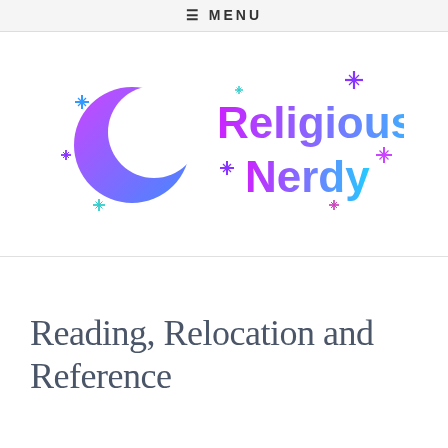≡ MENU
[Figure (logo): Religiously Nerdy logo with a purple-to-blue gradient crescent moon and colorful sparkle stars, with 'Religiously Nerdy' in bold purple-to-cyan gradient text]
Reading, Relocation and Reference